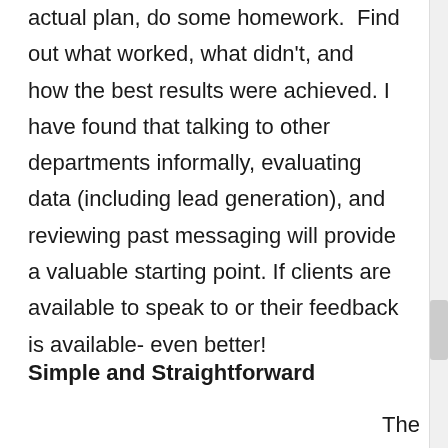actual plan, do some homework. Find out what worked, what didn't, and how the best results were achieved. I have found that talking to other departments informally, evaluating data (including lead generation), and reviewing past messaging will provide a valuable starting point. If clients are available to speak to or their feedback is available- even better!
Simple and Straightforward
The